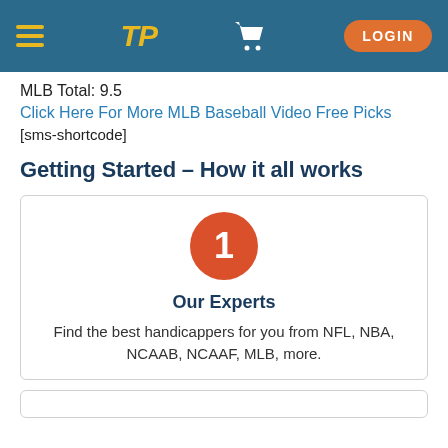TP LOGIN
MLB Total: 9.5
Click Here For More MLB Baseball Video Free Picks
[sms-shortcode]
Getting Started – How it all works
[Figure (infographic): Card with orange circle containing number 1, title 'Our Experts', and text 'Find the best handicappers for you from NFL, NBA, NCAAB, NCAAF, MLB, more.']